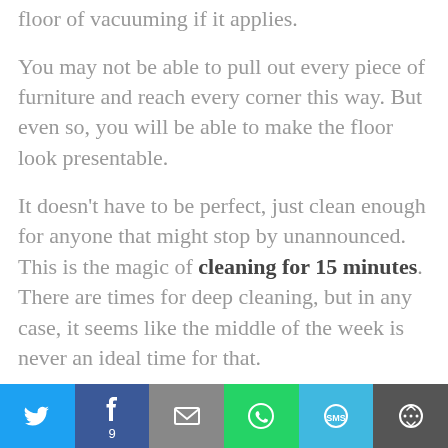floor of vacuuming if it applies.
You may not be able to pull out every piece of furniture and reach every corner this way. But even so, you will be able to make the floor look presentable.
It doesn't have to be perfect, just clean enough for anyone that might stop by unannounced. This is the magic of cleaning for 15 minutes. There are times for deep cleaning, but in any case, it seems like the middle of the week is never an ideal time for that.
If you are ready to clean and organize all the
[Figure (other): Social sharing bar with Twitter, Facebook (9 shares), Email, WhatsApp, SMS, and More buttons]